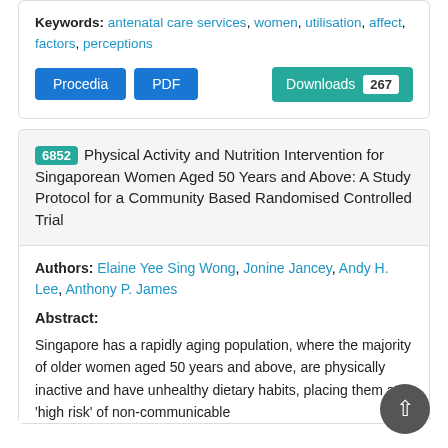Keywords: antenatal care services, women, utilisation, affect, factors, perceptions
Procedia | PDF | Downloads 267
6852 Physical Activity and Nutrition Intervention for Singaporean Women Aged 50 Years and Above: A Study Protocol for a Community Based Randomised Controlled Trial
Authors: Elaine Yee Sing Wong, Jonine Jancey, Andy H. Lee, Anthony P. James
Abstract:
Singapore has a rapidly aging population, where the majority of older women aged 50 years and above, are physically inactive and have unhealthy dietary habits, placing them at 'high risk' of non-communicable